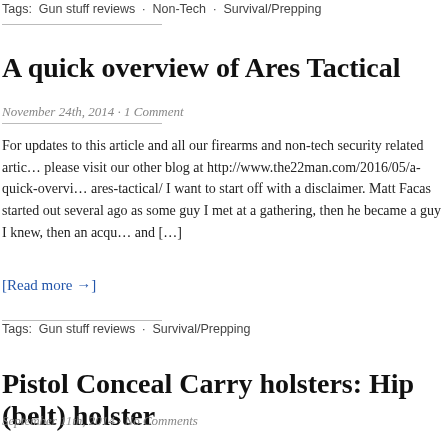Tags:  Gun stuff reviews · Non-Tech · Survival/Prepping
A quick overview of Ares Tactical
November 24th, 2014 · 1 Comment
For updates to this article and all our firearms and non-tech security related artic… please visit our other blog at http://www.the22man.com/2016/05/a-quick-overvi… ares-tactical/ I want to start off with a disclaimer. Matt Facas started out several … ago as some guy I met at a gathering, then he became a guy I knew, then an acqu… and […]
[Read more →]
Tags:  Gun stuff reviews · Survival/Prepping
Pistol Conceal Carry holsters: Hip (belt) holster
September 11th, 2014 · No Comments